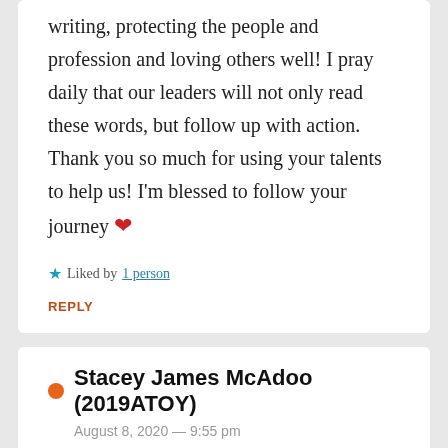writing, protecting the people and profession and loving others well! I pray daily that our leaders will not only read these words, but follow up with action. Thank you so much for using your talents to help us! I'm blessed to follow your journey ❤
★ Liked by 1 person
REPLY
● Stacey James McAdoo (2019ATOY)
August 8, 2020 — 9:55 pm